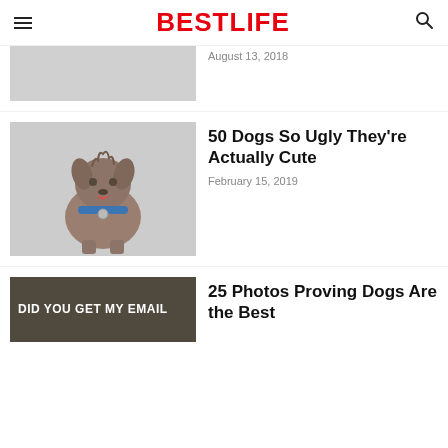BESTLIFE
[Figure (photo): Black and white historical photo, partially visible]
August 13, 2018
[Figure (photo): Ugly dog with blue collar sitting against white background]
50 Dogs So Ugly They're Actually Cute
February 15, 2019
[Figure (photo): Image with text DID YOU GET MY EMAIL on grey/brown background]
25 Photos Proving Dogs Are the Best